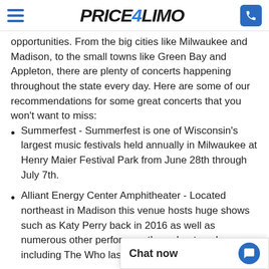Price4Limo
opportunities. From the big cities like Milwaukee and Madison, to the small towns like Green Bay and Appleton, there are plenty of concerts happening throughout the state every day. Here are some of our recommendations for some great concerts that you won’t want to miss:
Summerfest - Summerfest is one of Wisconsin’s largest music festivals held annually in Milwaukee at Henry Maier Festival Park from June 28th through July 7th.
Alliant Energy Center Amphitheater - Located northeast in Madison this venue hosts huge shows such as Katy Perry back in 2016 as well as numerous other performers throughout each season including The Who last year full songs mostly o